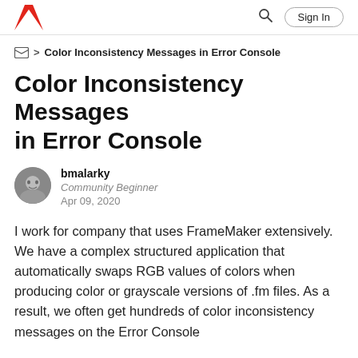Adobe | Sign In
Color Inconsistency Messages in Error Console
Color Inconsistency Messages in Error Console
bmalarky
Community Beginner
Apr 09, 2020
I work for company that uses FrameMaker extensively. We have a complex structured application that automatically swaps RGB values of colors when producing color or grayscale versions of .fm files. As a result, we often get hundreds of color inconsistency messages on the Error Console